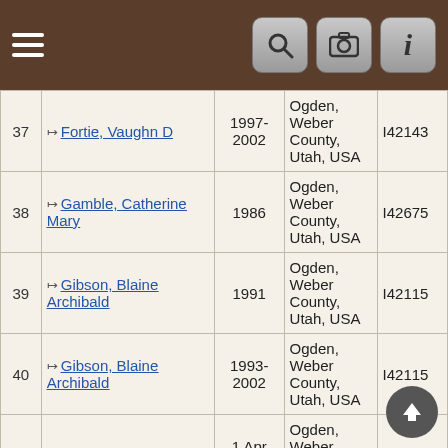App navigation header with hamburger menu and search, camera, info icons
| # | Name | Date | Place | ID |
| --- | --- | --- | --- | --- |
| 37 | Fortie, Vaughn D | 1997-2002 | Ogden, Weber County, Utah, USA | I42143 |
| 38 | Gamble, Catherine Mary | 1986 | Ogden, Weber County, Utah, USA | I42675 |
| 39 | Gibson, Blaine Archibald | 1991 | Ogden, Weber County, Utah, USA | I42115 |
| 40 | Gibson, Blaine Archibald | 1993-2002 | Ogden, Weber County, Utah, USA | I42115 |
| 41 | Gibson, Charles Blair | 1 Apr 1935 | Ogden, Weber County, Utah, USA | I42109 |
| 42 | Gibson, Charles Blair | 16 Oct 1940 | Ogden, Weber County, Utah, USA | I42109 |